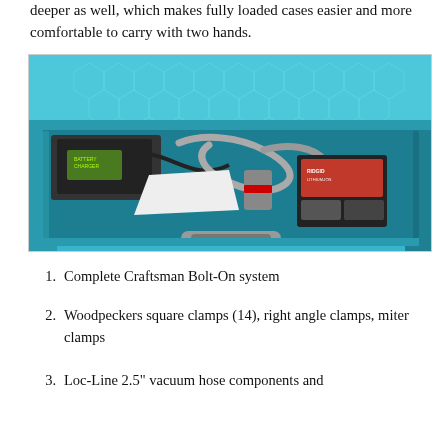deeper as well, which makes fully loaded cases easier and more comfortable to carry with two hands.
[Figure (photo): An open teal Makita-style tool case filled with various tools and accessories including batteries, Loc-Line vacuum hose components, drill bits, clamps, and other workshop items. The case interior is shown from above with the lid open revealing a hexagonal pattern on the inside of the lid.]
Complete Craftsman Bolt-On system
Woodpeckers square clamps (14), right angle clamps, miter clamps
Loc-Line 2.5" vacuum hose components and